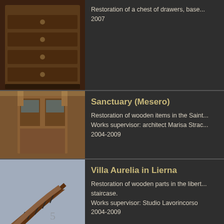[Figure (photo): Chest of drawers with ornate wooden details, partial top row]
Restoration of a chest of drawers, base... 2007
[Figure (photo): Interior wooden door of the Sanctuary in Mesero]
Sanctuary (Mesero)
Restoration of wooden items in the Saint... Works supervisor: architect Marisa Strac... 2004-2009
[Figure (photo): Curved wooden staircase with iron railings at Villa Aurelia in Lierna]
Villa Aurelia in Lierna
Restoration of wooden parts in the libert... staircase. Works supervisor: Studio Lavorincorso 2004-2009
[Figure (photo): Interior of sacristy in Saint Mary Ma... with wooden paneling and vaulted ceiling]
Sacristy
Restoration of sacristy in Saint Mary Ma... damaged by humidity and furniture clear... Works supervisor: architect Marisa Strac...